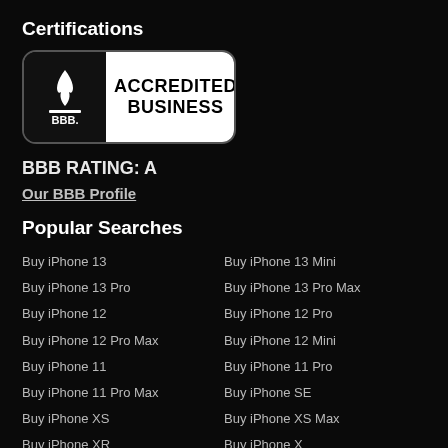Certifications
[Figure (logo): BBB Accredited Business badge with flame logo on black left side and white right side with bold text ACCREDITED BUSINESS]
BBB RATING: A
Our BBB Profile
Popular Searches
Buy iPhone 13
Buy iPhone 13 Mini
Buy iPhone 13 Pro
Buy iPhone 13 Pro Max
Buy iPhone 12
Buy iPhone 12 Pro
Buy iPhone 12 Pro Max
Buy iPhone 12 Mini
Buy iPhone 11
Buy iPhone 11 Pro
Buy iPhone 11 Pro Max
Buy iPhone SE
Buy iPhone XS
Buy iPhone XS Max
Buy iPhone XR
Buy iPhone X